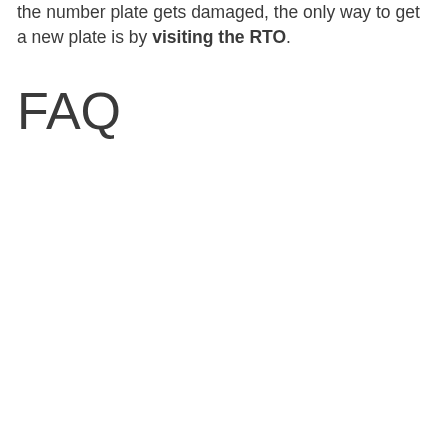the number plate gets damaged, the only way to get a new plate is by visiting the RTO.
FAQ